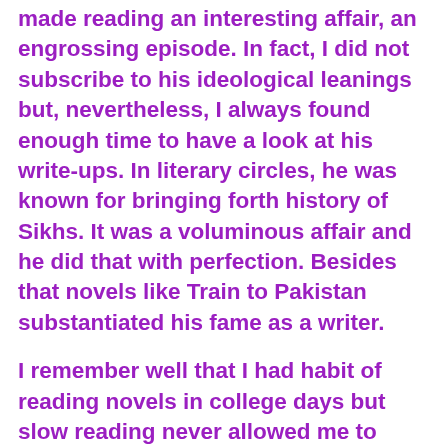made reading an interesting affair, an engrossing episode. In fact, I did not subscribe to his ideological leanings but, nevertheless, I always found enough time to have a look at his write-ups. In literary circles, he was known for bringing forth history of Sikhs. It was a voluminous affair and he did that with perfection. Besides that novels like Train to Pakistan substantiated his fame as a writer.
I remember well that I had habit of reading novels in college days but slow reading never allowed me to finish the novels in one go. Being student of English Literature my bond with English novels deepened with each passing moment in those years. One of my classmates, who loved to buy novels in his limited pocket money, bought this novel but kept it a secret, knowing well that if by chance I came to know about